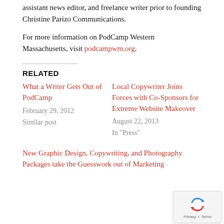assistant news editor, and freelance writer prior to founding Christine Parizo Communications.
For more information on PodCamp Western Massachusetts, visit podcampwm.org.
RELATED
What a Writer Gets Out of PodCamp
February 29, 2012
Similar post
Local Copywriter Joins Forces with Co-Sponsors for Extreme Website Makeover
August 22, 2013
In "Press"
New Graphic Design, Copywriting, and Photography Packages take the Guesswork out of Marketing
[Figure (logo): reCAPTCHA badge with Privacy and Terms links]